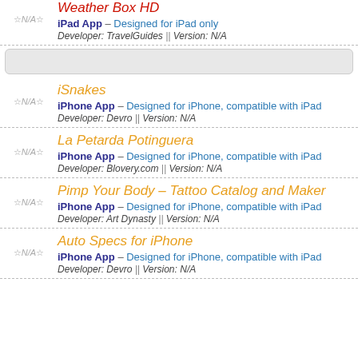Weather Box HD
iPad App – Designed for iPad only
Developer: TravelGuides || Version: N/A
iSnakes
iPhone App – Designed for iPhone, compatible with iPad
Developer: Devro || Version: N/A
La Petarda Potinguera
iPhone App – Designed for iPhone, compatible with iPad
Developer: Blovery.com || Version: N/A
Pimp Your Body – Tattoo Catalog and Maker
iPhone App – Designed for iPhone, compatible with iPad
Developer: Art Dynasty || Version: N/A
Auto Specs for iPhone
iPhone App – Designed for iPhone, compatible with iPad
Developer: Devro || Version: N/A